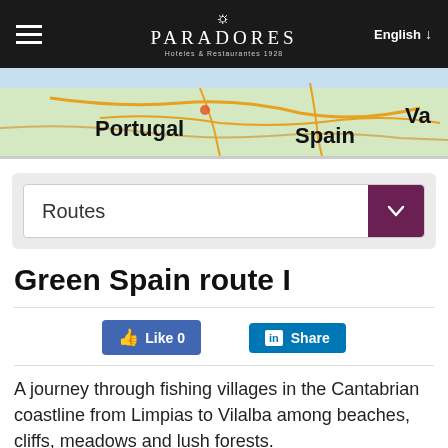PARADORES Hoteles & Restaurantes 1928 | English
[Figure (map): Map showing border region between Portugal and Spain (Va...), with road networks visible]
Routes
Green Spain route I
[Figure (infographic): Facebook Like button (Like 0) and LinkedIn Share button]
A journey through fishing villages in the Cantabrian coastline from Limpias to Vilalba among beaches, cliffs, meadows and lush forests.